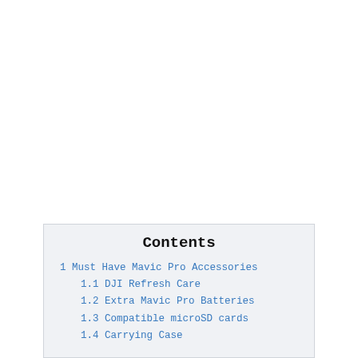Contents
1 Must Have Mavic Pro Accessories
1.1 DJI Refresh Care
1.2 Extra Mavic Pro Batteries
1.3 Compatible microSD cards
1.4 Carrying Case